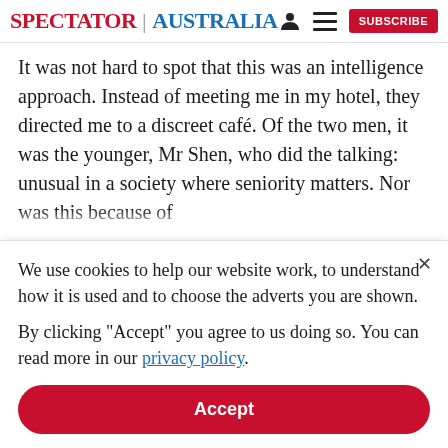SPECTATOR | AUSTRALIA
It was not hard to spot that this was an intelligence approach. Instead of meeting me in my hotel, they directed me to a discreet café. Of the two men, it was the younger, Mr Shen, who did the talking: unusual in a society where seniority matters. Nor was this because of
We use cookies to help our website work, to understand how it is used and to choose the adverts you are shown.

By clicking "Accept" you agree to us doing so. You can read more in our privacy policy.
Accept